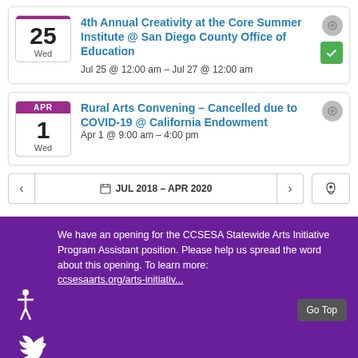4th Annual Creativity at the Core Summer Institute @ San Diego County Office of Education
Jul 25 @ 12:00 am – Jul 27 @ 12:00 am
Rural Arts Convening – Cancelled due to COVID-19 @ California Endowment
Apr 1 @ 9:00 am – 4:00 pm
JUL 2018 – APR 2020
We have an opening for the CCSESA Statewide Arts Initiative Program Assistant position. Please help us spread the word about this opening. To learn more: ccsesaarts.org/arts-initiativ...